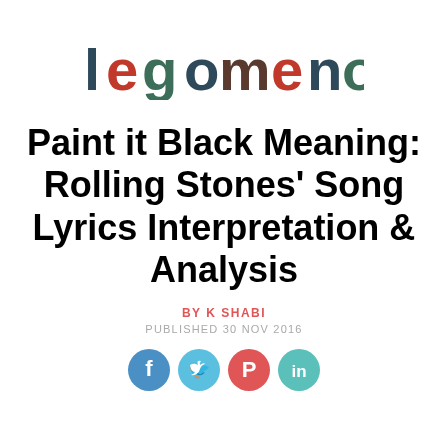[Figure (logo): Legomenon website logo with multicolor decorative letters on a white background]
Paint it Black Meaning: Rolling Stones' Song Lyrics Interpretation & Analysis
BY K SHABI
PUBLISHED 30 NOV 2016
[Figure (other): Row of four social media share icons: Facebook (blue), Twitter (light blue), Pinterest (red), LinkedIn (teal)]